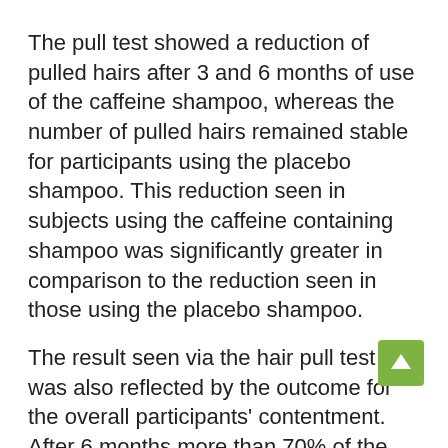The pull test showed a reduction of pulled hairs after 3 and 6 months of use of the caffeine shampoo, whereas the number of pulled hairs remained stable for participants using the placebo shampoo. This reduction seen in subjects using the caffeine containing shampoo was significantly greater in comparison to the reduction seen in those using the placebo shampoo.
The result seen via the hair pull test was also reflected by the outcome for the overall participants' contentment. After 6 months more than 70% of the participants using the caffeine containing shampoo reported their contentment with the product. In contrast to that, those subjects using the placebo shampoo expressed a significantly less contentment (28%) after 6 months.
The subjective assessment of the product efficacy additionally confirmed that after 6 months of usage the intensity of hair loss and the number of hairs in the